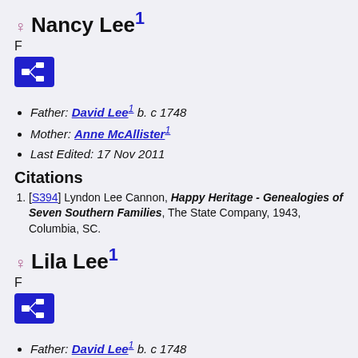Nancy Lee1
F
Father: David Lee1 b. c 1748
Mother: Anne McAllister1
Last Edited: 17 Nov 2011
Citations
[S394] Lyndon Lee Cannon, Happy Heritage - Genealogies of Seven Southern Families, The State Company, 1943, Columbia, SC.
Lila Lee1
F
Father: David Lee1 b. c 1748
Mother: Anne McAllister1